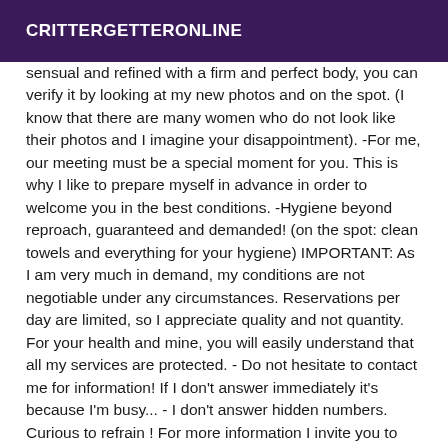CRITTERGETTERONLINE
sensual and refined with a firm and perfect body, you can verify it by looking at my new photos and on the spot. (I know that there are many women who do not look like their photos and I imagine your disappointment). -For me, our meeting must be a special moment for you. This is why I like to prepare myself in advance in order to welcome you in the best conditions. -Hygiene beyond reproach, guaranteed and demanded! (on the spot: clean towels and everything for your hygiene) IMPORTANT: As I am very much in demand, my conditions are not negotiable under any circumstances. Reservations per day are limited, so I appreciate quality and not quantity. For your health and mine, you will easily understand that all my services are protected. - Do not hesitate to contact me for information! If I don't answer immediately it's because I'm busy... - I don't answer hidden numbers. Curious to refrain ! For more information I invite you to call me. I